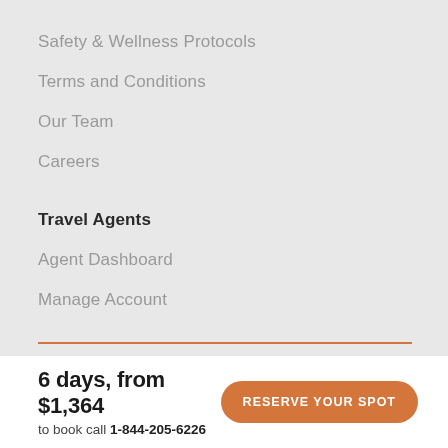Safety & Wellness Protocols
Terms and Conditions
Our Team
Careers
Travel Agents
Agent Dashboard
Manage Account
6 days, from $1,364
to book call 1-844-205-6226
Reserve your spot